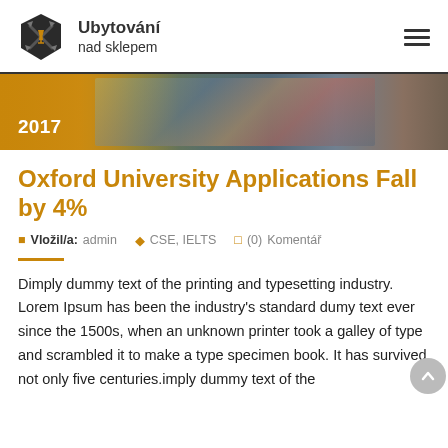Ubytování nad sklepem
[Figure (photo): Banner image showing students with backpacks, with '2017' text overlay on golden background]
Oxford University Applications Fall by 4%
Vložil/a: admin  CSE, IELTS  (0) Komentář
Dimply dummy text of the printing and typesetting industry. Lorem Ipsum has been the industry's standard dumy text ever since the 1500s, when an unknown printer took a galley of type and scrambled it to make a type specimen book. It has survived not only five centuries.imply dummy text of the